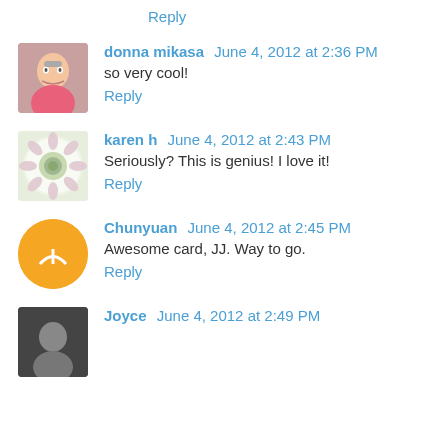Reply
donna mikasa June 4, 2012 at 2:36 PM
so very cool!
Reply
karen h June 4, 2012 at 2:43 PM
Seriously? This is genius! I love it!
Reply
Chunyuan June 4, 2012 at 2:45 PM
Awesome card, JJ. Way to go.
Reply
Joyce June 4, 2012 at 2:49 PM